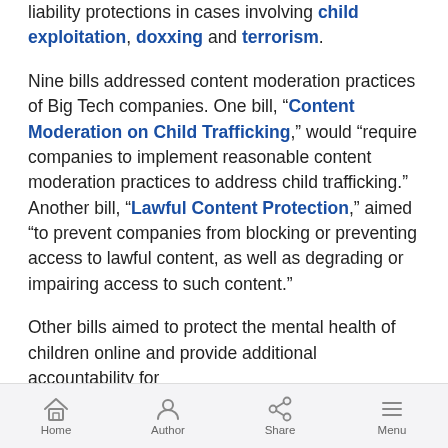liability protections in cases involving child exploitation, doxxing and terrorism.
Nine bills addressed content moderation practices of Big Tech companies. One bill, “Content Moderation on Child Trafficking,” would “require companies to implement reasonable content moderation practices to address child trafficking.” Another bill, “Lawful Content Protection,” aimed “to prevent companies from blocking or preventing access to lawful content, as well as degrading or impairing access to such content.”
Other bills aimed to protect the mental health of children online and provide additional accountability for
Home   Author   Share   Menu